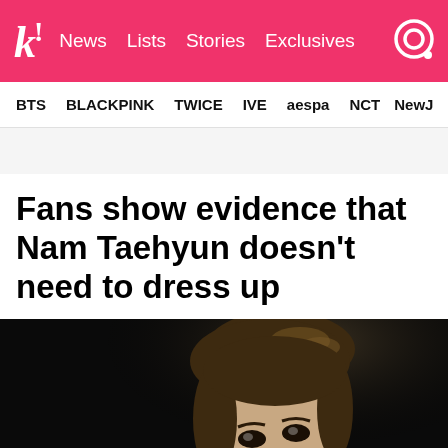k! News Lists Stories Exclusives
BTS BLACKPINK TWICE IVE aespa NCT NewJ
Fans show evidence that Nam Taehyun doesn't need to dress up
[Figure (photo): Close-up photo of Nam Taehyun against a dark/black background, looking upward, with short brown hair and wearing an ear stud.]